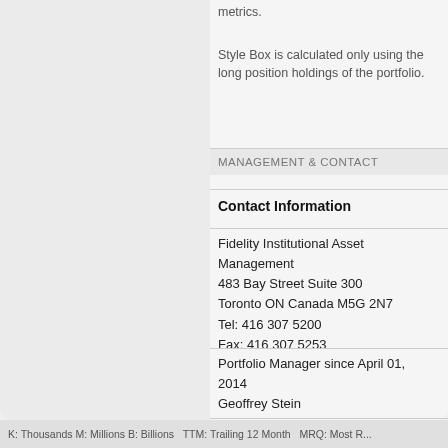metrics.
Style Box is calculated only using the long position holdings of the portfolio.
MANAGEMENT & CONTACT
Contact Information
Fidelity Institutional Asset Management
483 Bay Street Suite 300
Toronto ON Canada M5G 2N7
Tel: 416 307 5200
Fax: 416 307 5253
Portfolio Manager since April 01, 2014
Geoffrey Stein
K: Thousands M: Millions B: Billions TTM: Trailing 12 Month MRQ: Most R...